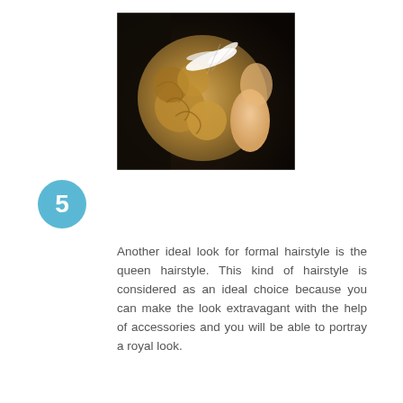[Figure (photo): A woman photographed from the back showing an elegant updo hairstyle (queen/formal hairstyle) with a white feather hair accessory on a dark background.]
5
Another ideal look for formal hairstyle is the queen hairstyle. This kind of hairstyle is considered as an ideal choice because you can make the look extravagant with the help of accessories and you will be able to portray a royal look.